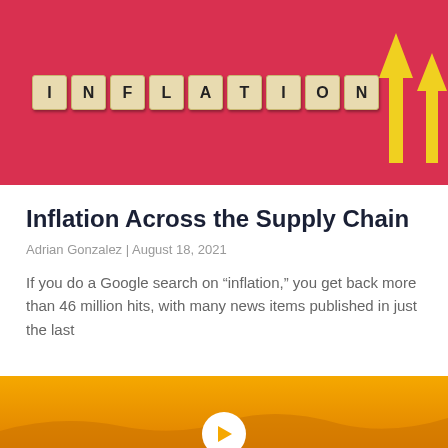[Figure (photo): Photo of scrabble tiles spelling INFLATION on a red background with yellow upward-pointing arrows to the right]
Inflation Across the Supply Chain
Adrian Gonzalez | August 18, 2021
If you do a Google search on “inflation,” you get back more than 46 million hits, with many news items published in just the last
[Figure (photo): Bottom portion of a golden/amber colored image, partially visible, with a circular play button icon]